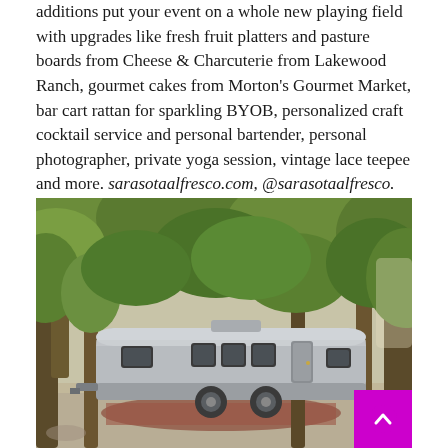additions put your event on a whole new playing field with upgrades like fresh fruit platters and pasture boards from Cheese & Charcuterie from Lakewood Ranch, gourmet cakes from Morton's Gourmet Market, bar cart rattan for sparkling BYOB, personalized craft cocktail service and personal bartender, personal photographer, private yoga session, vintage lace teepee and more. sarasotaalfresco.com, @sarasotaalfresco.
[Figure (photo): An Airstream travel trailer parked under large trees with dappled sunlight, on a gravel/sandy surface with a rug underneath, surrounded by lush green foliage.]